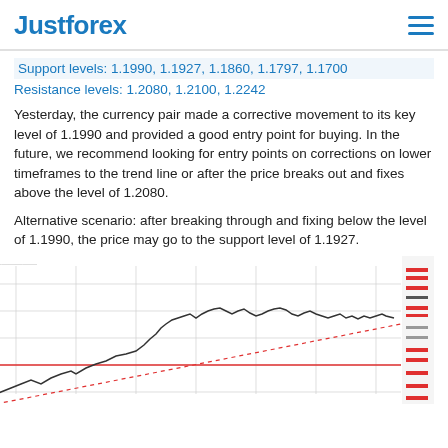Justforex
Support levels: 1.1990, 1.1927, 1.1860, 1.1797, 1.1700
Resistance levels: 1.2080, 1.2100, 1.2242
Yesterday, the currency pair made a corrective movement to its key level of 1.1990 and provided a good entry point for buying. In the future, we recommend looking for entry points on corrections on lower timeframes to the trend line or after the price breaks out and fixes above the level of 1.2080.
Alternative scenario: after breaking through and fixing below the level of 1.1990, the price may go to the support level of 1.1927.
[Figure (continuous-plot): Forex price chart (EUR/USD or similar) showing an upward trend with a rising price line (black/dark), a rising support trend line (dotted red), and a horizontal support level (solid red line). The right side has a legend panel with colored markers. The chart shows price movement with an overall uptrend.]